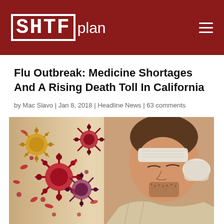SHTFplan
Flu Outbreak: Medicine Shortages And A Rising Death Toll In California
by Mac Slavo | Jan 8, 2018 | Headline News | 63 comments
[Figure (photo): Composite image of flu virus bacteria (red and gold microscopic organisms) on the left and a sick man lying down with a wet cloth on his forehead, wrapped in a blanket, on the right]